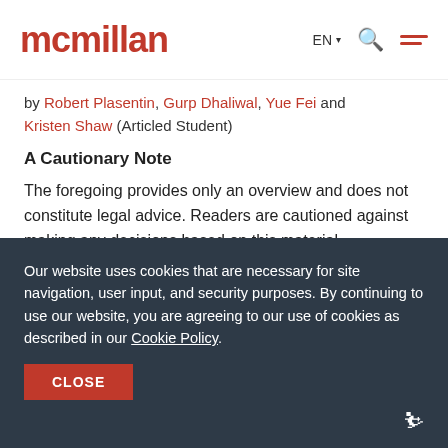mcmillan
by Robert Plasentin, Gurp Dhaliwal, Yue Fei and Kristen Shaw (Articled Student)
A Cautionary Note
The foregoing provides only an overview and does not constitute legal advice. Readers are cautioned against making any decisions based on this material
Our website uses cookies that are necessary for site navigation, user input, and security purposes. By continuing to use our website, you are agreeing to our use of cookies as described in our Cookie Policy.
CLOSE